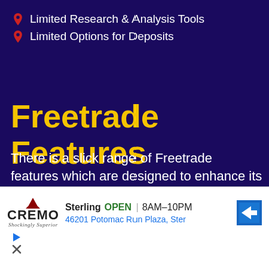Limited Research & Analysis Tools
Limited Options for Deposits
Freetrade Features
There is a slick range of Freetrade features which are designed to enhance its overall user experience across web and mobile. These include cash incentives, as well as extra tools for experienced traders and benefits available for all Freetrade users, which include
[Figure (infographic): Advertisement banner showing Cremo brand logo with Sterling location: OPEN 8AM-10PM, 46201 Potomac Run Plaza, Ster, with navigation arrow icon and small play/close icons]